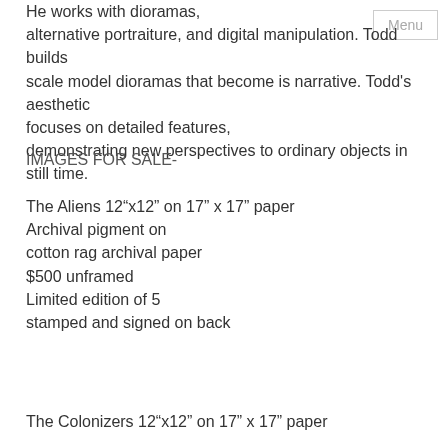He works with dioramas, alternative portraiture, and digital manipulation. Todd builds scale model dioramas that become is narrative. Todd's aesthetic focuses on detailed features, demonstrating new perspectives to ordinary objects in still time.
IMAGES FOR SALE-
The Aliens 12”x12” on 17” x 17” paper
Archival pigment on
cotton rag archival paper
$500 unframed
Limited edition of 5
stamped and signed on back
The Colonizers 12”x12” on 17” x 17” paper